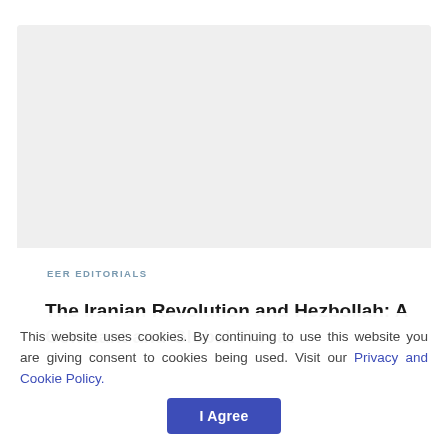[Figure (other): Large light gray placeholder image area at the top of an article card]
EER EDITORIALS
The Iranian Revolution and Hezbollah: A Constant and Global Threat
This website uses cookies. By continuing to use this website you are giving consent to cookies being used. Visit our Privacy and Cookie Policy.
I Agree